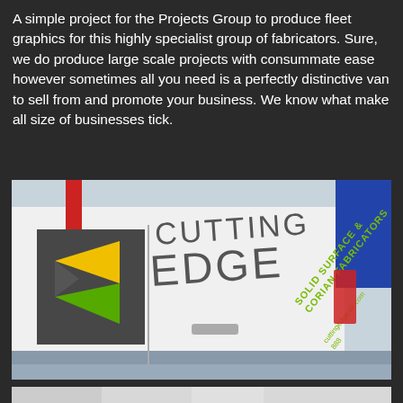A simple project for the Projects Group to produce fleet graphics for this highly specialist group of fabricators. Sure, we do produce large scale projects with consummate ease however sometimes all you need is a perfectly distinctive van to sell from and promote your business. We know what make all size of businesses tick.
[Figure (photo): Photograph of a white van with 'Cutting Edge' fleet graphics, showing the 'CUTTING EDGE' text and logo (dark square with yellow and green triangular arrow), plus green text reading 'SOLID SURFACE & CORIAN FABRICATORS' and a website URL on the rear doors.]
[Figure (photo): Partial view of another van or image at the bottom of the page, partially cropped.]